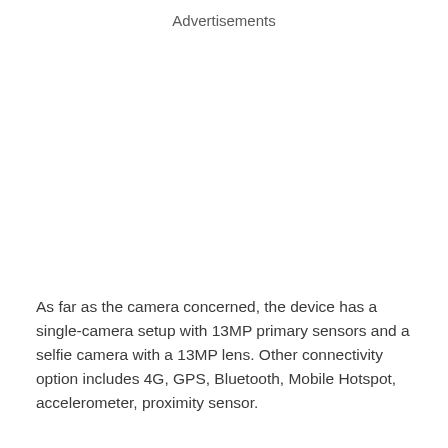Advertisements
As far as the camera concerned, the device has a single-camera setup with 13MP primary sensors and a selfie camera with a 13MP lens. Other connectivity option includes 4G, GPS, Bluetooth, Mobile Hotspot, accelerometer, proximity sensor.